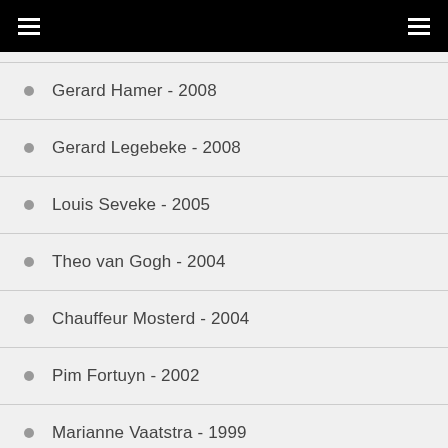Gerard Hamer - 2008
Gerard Legebeke - 2008
Louis Seveke - 2005
Theo van Gogh - 2004
Chauffeur Mosterd - 2004
Pim Fortuyn - 2002
Marianne Vaatstra - 1999